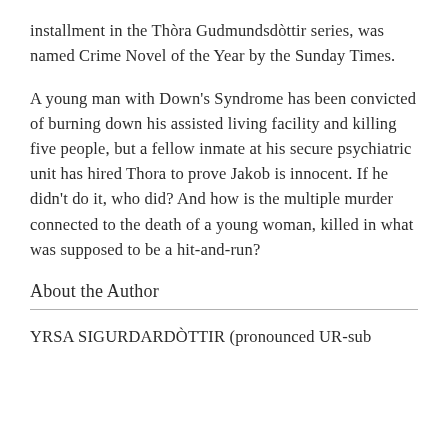installment in the Thòra Gudmundsdòttir series, was named Crime Novel of the Year by the Sunday Times.
A young man with Down's Syndrome has been convicted of burning down his assisted living facility and killing five people, but a fellow inmate at his secure psychiatric unit has hired Thora to prove Jakob is innocent. If he didn't do it, who did? And how is the multiple murder connected to the death of a young woman, killed in what was supposed to be a hit-and-run?
About the Author
YRSA SIGURDARDÒTTIR (pronounced UR-sub